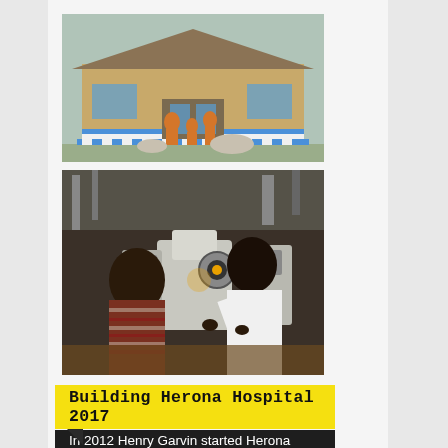[Figure (photo): Exterior of a building (Herona Hospital) with golden/tan facade, sculpture of figures in the foreground, and blue-white striped border]
[Figure (photo): Medical professional using ophthalmic slit lamp equipment to examine a patient's eyes in a clinical setting]
Building Herona Hospital 2017
In 2012 Henry Garvin started Herona clinic in Kisoga village, Uganda to serve his community. He